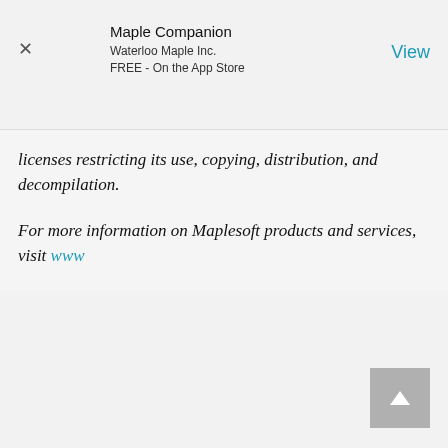Maple Companion
Waterloo Maple Inc.
FREE - On the App Store
View
licenses restricting its use, copying, distribution, and decompilation.
For more information on Maplesoft products and services, visit www